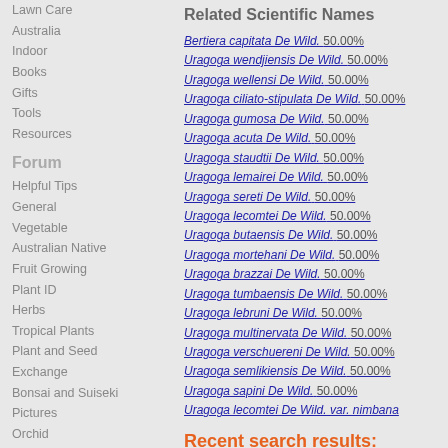Lawn Care
Australia
Indoor
Books
Gifts
Tools
Resources
Forum
Helpful Tips
General
Vegetable
Australian Native
Fruit Growing
Plant ID
Herbs
Tropical Plants
Plant and Seed Exchange
Bonsai and Suiseki
Pictures
Orchid
Hydroponics
Water
News and Updates
Plants
Roses
Plant Propagation
Related Scientific Names
Bertiera capitata De Wild. 50.00%
Uragoga wendjiensis De Wild. 50.00%
Uragoga wellensi De Wild. 50.00%
Uragoga ciliato-stipulata De Wild. 50.00%
Uragoga gumosa De Wild. 50.00%
Uragoga acuta De Wild. 50.00%
Uragoga staudtii De Wild. 50.00%
Uragoga lemairei De Wild. 50.00%
Uragoga sereti De Wild. 50.00%
Uragoga lecomtei De Wild. 50.00%
Uragoga butaensis De Wild. 50.00%
Uragoga mortehani De Wild. 50.00%
Uragoga brazzai De Wild. 50.00%
Uragoga tumbaensis De Wild. 50.00%
Uragoga lebruni De Wild. 50.00%
Uragoga multinervata De Wild. 50.00%
Uragoga verschuereni De Wild. 50.00%
Uragoga semlikiensis De Wild. 50.00%
Uragoga sapini De Wild. 50.00%
Uragoga lecomtei De Wild. var. nimbana
Recent search results: